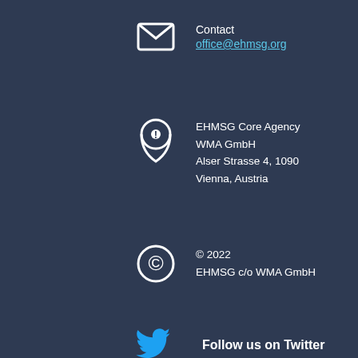Contact
office@ehmsg.org
EHMSG Core Agency
WMA GmbH
Alser Strasse 4, 1090
Vienna, Austria
© 2022
EHMSG c/o WMA GmbH
Follow us on Twitter
The EHMSG is a member of the United European Gastroenterology, a professional non-profit organisation combining all the leading European societies concerned with digestive disease. UEG represents over 22,000 specialists, working across medicine, surgery, paediatrics, GI oncology and endoscopy. This makes UEG the most